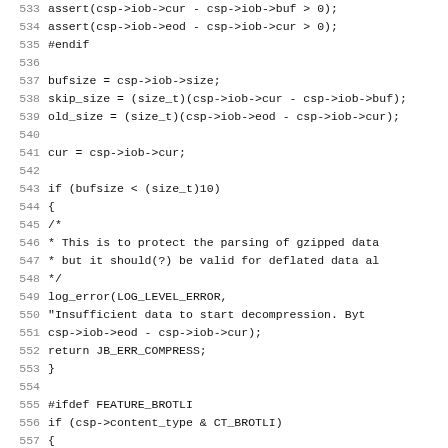Source code listing, lines 533-565, C code for decompression buffer handling with ifdef blocks for FEATURE_BROTLI and CT_GZIP.